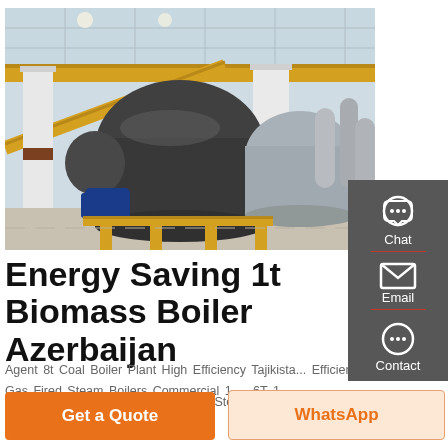[Figure (photo): Industrial boiler room with large cylindrical pressure vessels, yellow overhead pipes, white structural columns, and various piping systems. Multiple boilers visible in a factory/plant setting.]
Energy Saving 1t Biomass Boiler Azerbaijan
Agent 8t Coal Boiler Plant High Efficiency Tajikistan Efficiency Gas Fired Steam Boilers Commercial 1 ... 6T 1 Ton Boiler Agent Fuel Consumption Steam Boiler 10 Ton
Get a Quote
WhatsApp